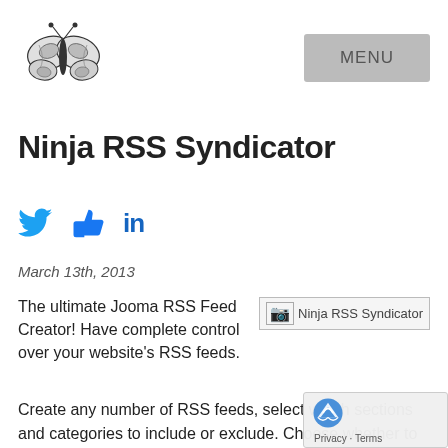[Figure (illustration): Black and white butterfly illustration logo in top left corner]
[Figure (other): MENU button, grey rectangle with text MENU in top right corner]
Ninja RSS Syndicator
[Figure (other): Social media icons: Twitter bird (blue), Facebook thumbs up like (blue), LinkedIn 'in' (dark blue)]
March 13th, 2013
The ultimate Jooma RSS Feed Creator! Have complete control over your website's RSS feeds.
[Figure (other): Broken image placeholder labeled 'Ninja RSS Syndicator']
Create any number of RSS feeds, select which sections and categories to include or exclude. Choose whether to images or HTML in the feed. Output the whole the a the feed, just the introduction or a certain number of words